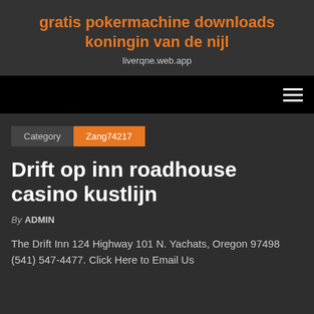gratis pokermachine downloads koningin van de nijl
liverqne.web.app
Category  Zang74217
Drift op inn roadhouse casino kustlijn
By ADMIN
The Drift Inn 124 Highway 101 N. Yachats, Oregon 97498 (541) 547-4477. Click Here to Email Us